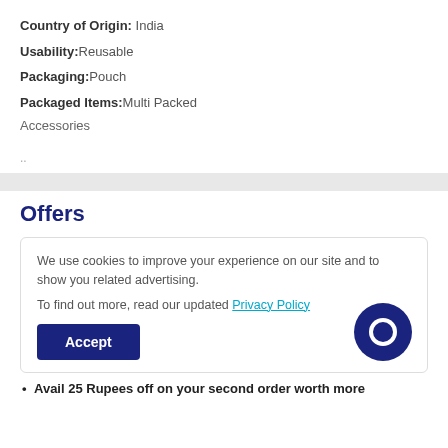Country of Origin: India
Usability: Reusable
Packaging: Pouch
Packaged Items: Multi Packed
Accessories
..
Offers
We use cookies to improve your experience on our site and to show you related advertising.

To find out more, read our updated Privacy Policy

Accept
• Avail 25 Rupees off on your second order worth more